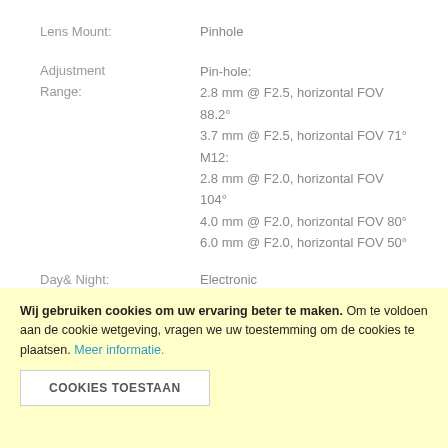| Property | Value |
| --- | --- |
| Lens Mount: | Pinhole |
| Adjustment Range: | Pin-hole:
2.8 mm @ F2.5, horizontal FOV 88.2°
3.7 mm @ F2.5, horizontal FOV 71°
M12:
2.8 mm @ F2.0, horizontal FOV 104°
4.0 mm @ F2.0, horizontal FOV 80°
6.0 mm @ F2.0, horizontal FOV 50° |
| Day& Night: | Electronic |
| Wide Dynamic Range: | 120 dB |
Compression Standard
| Property | Value |
| --- | --- |
| Video | H.265+/H.265/H.264+/H.264/MJPEG |
Wij gebruiken cookies om uw ervaring beter te maken. Om te voldoen aan de cookie wetgeving, vragen we uw toestemming om de cookies te plaatsen. Meer informatie.
COOKIES TOESTAAN